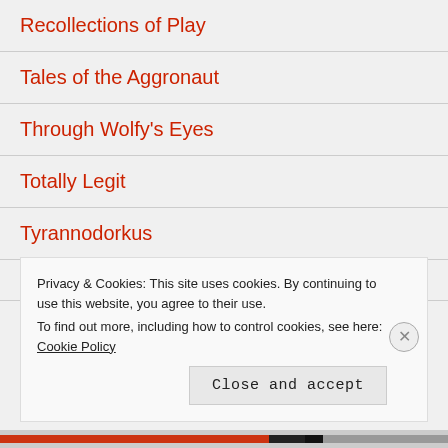Recollections of Play
Tales of the Aggronaut
Through Wolfy's Eyes
Totally Legit
Tyrannodorkus
Privacy & Cookies: This site uses cookies. By continuing to use this website, you agree to their use. To find out more, including how to control cookies, see here: Cookie Policy
Close and accept